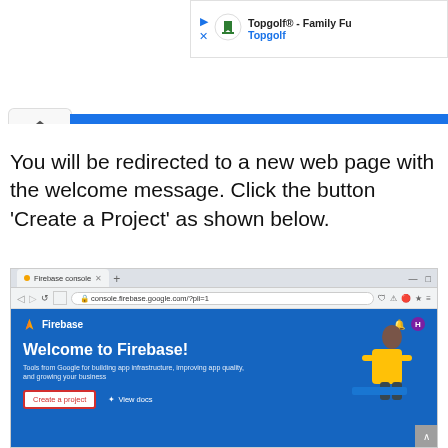[Figure (screenshot): Advertisement banner showing Topgolf Family Fun promotion with play button, X button, Topgolf logo, and link text]
[Figure (screenshot): Partial browser screenshot showing blue header strip at top with chevron-up button on left]
You will be redirected to a new web page with the welcome message. Click the button ‘Create a Project’ as shown below.
[Figure (screenshot): Screenshot of Firebase console browser window showing the Firebase welcome page with 'Welcome to Firebase!' heading, subtitle text, 'Create a project' button (highlighted with red border), and 'View docs' button]